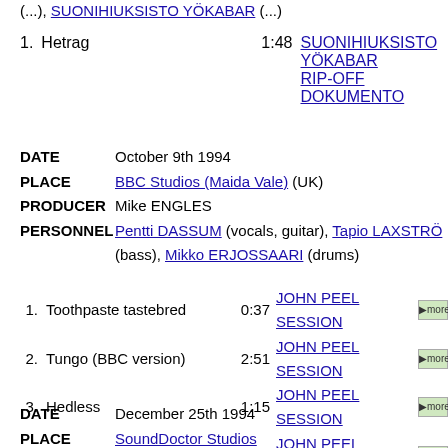(...) SUONIHIUKSISTO YÖKABAR RIP-OFF DOKUMENTO (...)
1. Hetrag   1:48  SUONIHIUKSISTO YÖKABAR RIP-OFF DOKUMENTO
DATE    October 9th 1994
PLACE   BBC Studios (Maida Vale) (UK)
PRODUCER   Mike ENGLES
PERSONNEL  Pentti DASSUM (vocals, guitar), Tapio LAXSTRÖM (bass), Mikko ERJOSSAARI (drums)
1. Toothpaste tastebred  0:37  JOHN PEEL SESSION
2. Tungo (BBC version)   2:51  JOHN PEEL SESSION
3. Hedless               1:15  JOHN PEEL SESSION
4. Nohand               1:28  JOHN PEEL SESSION
5. Ratua                1:49  JOHN PEEL SESSION
6. Gnülf                1:20  JOHN PEEL SESSION
DATE    December 25th 1994
PLACE   SoundDoctor Studios
RECORDING